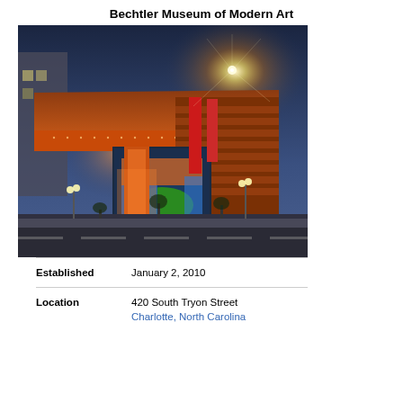Bechtler Museum of Modern Art
[Figure (photo): Exterior night photograph of the Bechtler Museum of Modern Art in Charlotte, NC. The building features a large copper-colored cantilevered overhang illuminated with warm orange light, with a bright starburst light visible at the upper right. The facade shows horizontal wood-like panels and glass walls with colorful art visible inside.]
| Established | January 2, 2010 |
| Location | 420 South Tryon Street
Charlotte, North Carolina |